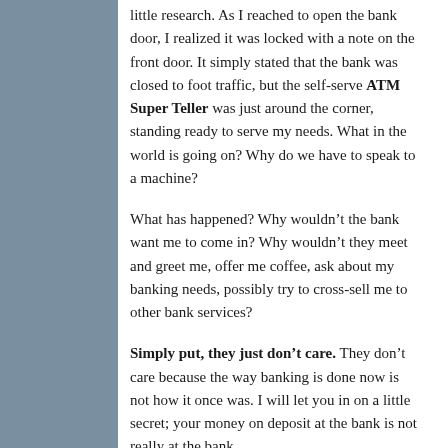little research. As I reached to open the bank door, I realized it was locked with a note on the front door. It simply stated that the bank was closed to foot traffic, but the self-serve ATM Super Teller was just around the corner, standing ready to serve my needs. What in the world is going on? Why do we have to speak to a machine?
What has happened? Why wouldn't the bank want me to come in? Why wouldn't they meet and greet me, offer me coffee, ask about my banking needs, possibly try to cross-sell me to other bank services?
Simply put, they just don't care. They don't care because the way banking is done now is not how it once was. I will let you in on a little secret; your money on deposit at the bank is not really at the bank.